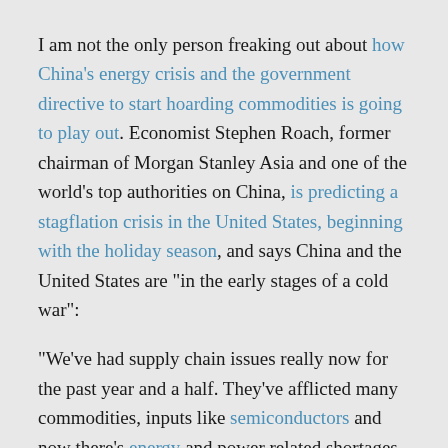I am not the only person freaking out about how China's energy crisis and the government directive to start hoarding commodities is going to play out. Economist Stephen Roach, former chairman of Morgan Stanley Asia and one of the world's top authorities on China, is predicting a stagflation crisis in the United States, beginning with the holiday season, and says China and the United States are "in the early stages of a cold war":
"We've had supply chain issues really now for the past year and a half. They've afflicted many commodities, inputs like semiconductors and now there's energy and power related shortages in China," Roach told CNBC's "Trading Nation" on Wednesday.